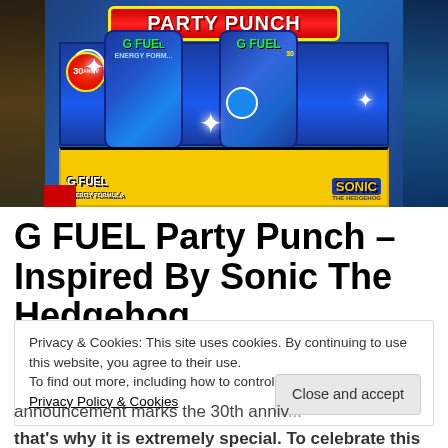[Figure (photo): G FUEL Party Punch product box inspired by Sonic The Hedgehog 30th Anniversary. Blue and yellow packaging with two G FUEL energy formula canisters visible. 'PARTY PUNCH' text in red banner at the top. Sonic the Hedgehog characters and logo appear on the box. Side panels show dark game imagery.]
G FUEL Party Punch – Inspired By Sonic The Hedgehog
Privacy & Cookies: This site uses cookies. By continuing to use this website, you agree to their use.
To find out more, including how to control cookies, see here: Privacy Policy & Cookies
announcement marks the 30th anniv...
that's why it is extremely special. To celebrate this